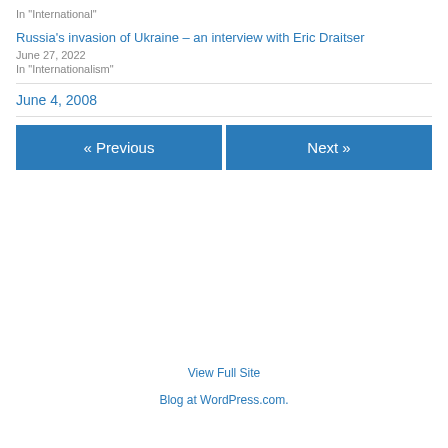In "International"
Russia's invasion of Ukraine – an interview with Eric Draitser
June 27, 2022
In "Internationalism"
June 4, 2008
« Previous
Next »
View Full Site
Blog at WordPress.com.